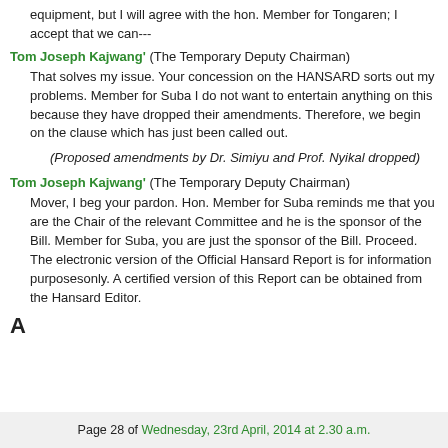equipment, but I will agree with the hon. Member for Tongaren; I accept that we can---
Tom Joseph Kajwang' (The Temporary Deputy Chairman) That solves my issue. Your concession on the HANSARD sorts out my problems. Member for Suba I do not want to entertain anything on this because they have dropped their amendments. Therefore, we begin on the clause which has just been called out.
(Proposed amendments by Dr. Simiyu and Prof. Nyikal dropped)
Tom Joseph Kajwang' (The Temporary Deputy Chairman) Mover, I beg your pardon. Hon. Member for Suba reminds me that you are the Chair of the relevant Committee and he is the sponsor of the Bill. Member for Suba, you are just the sponsor of the Bill. Proceed. The electronic version of the Official Hansard Report is for information purposesonly. A certified version of this Report can be obtained from the Hansard Editor.
A
Page 28 of Wednesday, 23rd April, 2014 at 2.30 a.m.